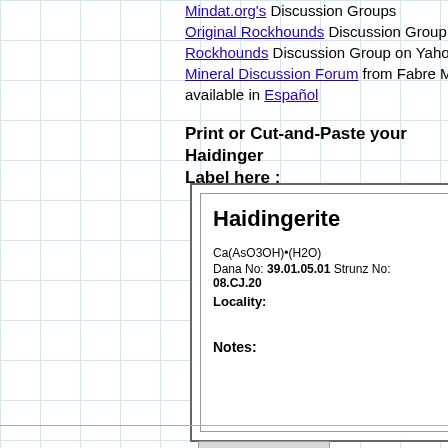Mindat.org's Discussion Groups Original Rockhounds Discussion Group Rockhounds Discussion Group on Yahoo Mineral Discussion Forum from Fabre M available in Español
Print or Cut-and-Paste your Haidinger Label here :
| Haidingerite |
| Ca(AsO3OH)•(H2O) |
| Dana No: 39.01.05.01  Strunz No: 08.CJ.20 |
| Locality: |
| Notes: |
Print this Label